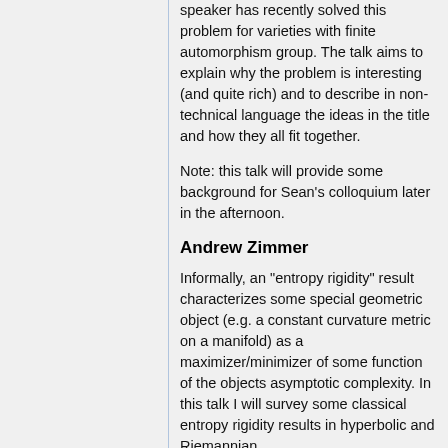speaker has recently solved this problem for varieties with finite automorphism group. The talk aims to explain why the problem is interesting (and quite rich) and to describe in non-technical language the ideas in the title and how they all fit together.
Note: this talk will provide some background for Sean's colloquium later in the afternoon.
Andrew Zimmer
Informally, an "entropy rigidity" result characterizes some special geometric object (e.g. a constant curvature metric on a manifold) as a maximizer/minimizer of some function of the objects asymptotic complexity. In this talk I will survey some classical entropy rigidity results in hyperbolic and Riemannian